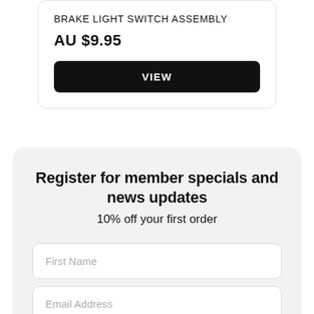BRAKE LIGHT SWITCH ASSEMBLY
AU $9.95
VIEW
Register for member specials and news updates
10% off your first order
First Name
Email Address